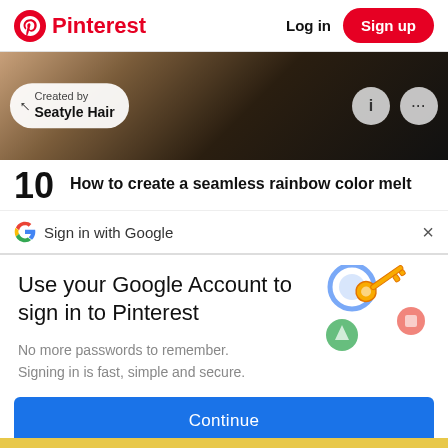Pinterest  Log in  Sign up
[Figure (screenshot): Partial image of a hair styling video/pin with a 'Created by Seatyle Hair' badge overlay and info/more icons]
10  How to create a seamless rainbow color melt
Sign in with Google
Use your Google Account to sign in to Pinterest
No more passwords to remember.
Signing in is fast, simple and secure.
[Figure (illustration): Google key illustration showing a golden key with colorful circular badges]
Continue